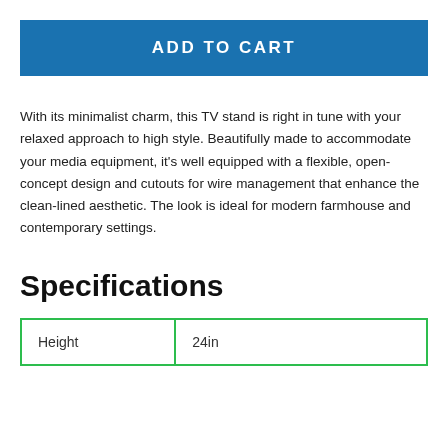ADD TO CART
With its minimalist charm, this TV stand is right in tune with your relaxed approach to high style. Beautifully made to accommodate your media equipment, it's well equipped with a flexible, open-concept design and cutouts for wire management that enhance the clean-lined aesthetic. The look is ideal for modern farmhouse and contemporary settings.
Specifications
| Height | 24in |
| --- | --- |
| Height | 24in |